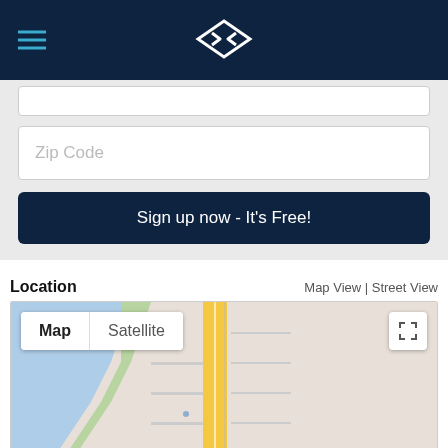[Figure (screenshot): Dark navy app header bar with hamburger menu icon on the left and a diamond-shaped logo in the center]
Zip Code
Sign up now - It's Free!
Location
Map View | Street View
[Figure (map): Google Maps view showing a coastal area with a yellow highway road, blue water on the left, and a red location pin at the bottom center. Shows Map/Satellite toggle and fullscreen button.]